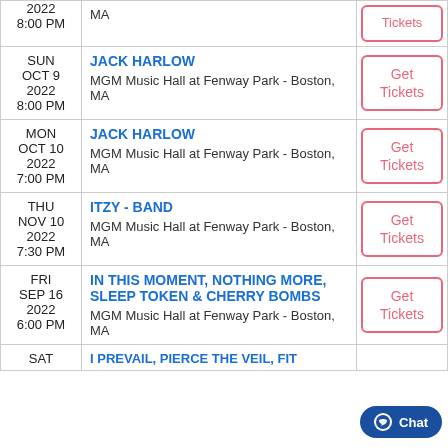| Date | Event | Action |
| --- | --- | --- |
| SUN
OCT 9
2022
8:00 PM | JACK HARLOW
MGM Music Hall at Fenway Park - Boston, MA | Get Tickets |
| MON
OCT 10
2022
7:00 PM | JACK HARLOW
MGM Music Hall at Fenway Park - Boston, MA | Get Tickets |
| THU
NOV 10
2022
7:30 PM | ITZY - BAND
MGM Music Hall at Fenway Park - Boston, MA | Get Tickets |
| FRI
SEP 16
2022
6:00 PM | IN THIS MOMENT, NOTHING MORE, SLEEP TOKEN & CHERRY BOMBS
MGM Music Hall at Fenway Park - Boston, MA | Get Tickets |
| SAT | I PREVAIL, PIERCE THE VEIL, FIT | Get Tickets |